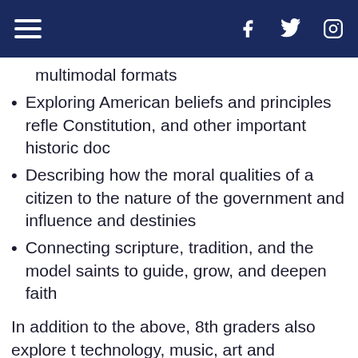[Navigation bar with hamburger menu, Facebook, Twitter, Instagram icons]
multimodal formats
Exploring American beliefs and principles reflected in the Constitution, and other important historic documents
Describing how the moral qualities of a citizen are connected to the nature of the government and influence their lives and destinies
Connecting scripture, tradition, and the models of the saints to guide, grow, and deepen faith
In addition to the above, 8th graders also explore technology, music, art and language. Beacuse of the formation and demontrated leadership that HFCA